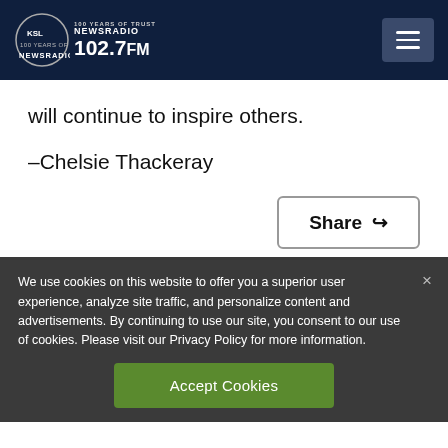KSL NewsRadio 102.7FM — 100 Years of Trust
will continue to inspire others.
–Chelsie Thackeray
Share
We use cookies on this website to offer you a superior user experience, analyze site traffic, and personalize content and advertisements. By continuing to use our site, you consent to our use of cookies. Please visit our Privacy Policy for more information.
Accept Cookies